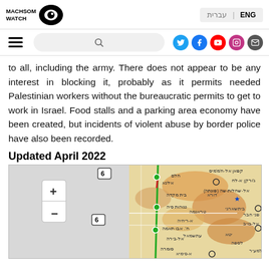MACHSOM WATCH | ENG | עברית
to all, including the army. There does not appear to be any interest in blocking it, probably as it permits needed Palestinian workers without the bureaucratic permits to get to work in Israel. Food stalls and a parking area economy have been created, but incidents of violent abuse by border police have also been recorded.
Updated April 2022
[Figure (map): Interactive map showing geographic region with Hebrew place names, road markers (highway 6), zoom controls (+/-), and colored route overlays on a street/terrain map background.]